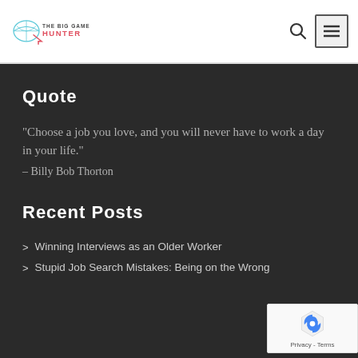The Big Game Hunter - logo, search icon, menu button
Quote
"Choose a job you love, and you will never have to work a day in your life."
- Billy Bob Thorton
Recent Posts
Winning Interviews as an Older Worker
Stupid Job Search Mistakes: Being on the Wrong